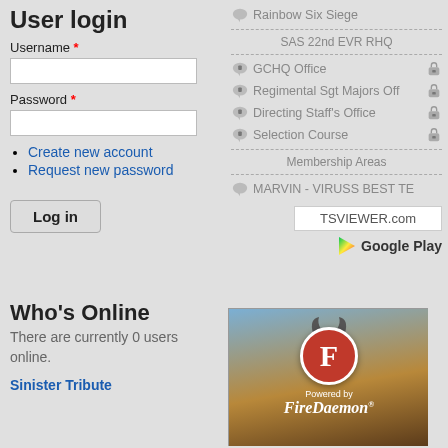User login
Username *
Password *
Create new account
Request new password
Log in
Rainbow Six Siege
SAS 22nd EVR RHQ
GCHQ Office
Regimental Sgt Majors Off
Directing Staff's Office
Selection Course
Membership Areas
MARVIN - VIRUSS BEST TE
TSVIEWER.com
Google Play
Who's Online
There are currently 0 users online.
Sinister Tribute
[Figure (logo): FireDaemon logo with red circle containing letter F and horns, 'Powered by FireDaemon' text on a fantasy themed background]